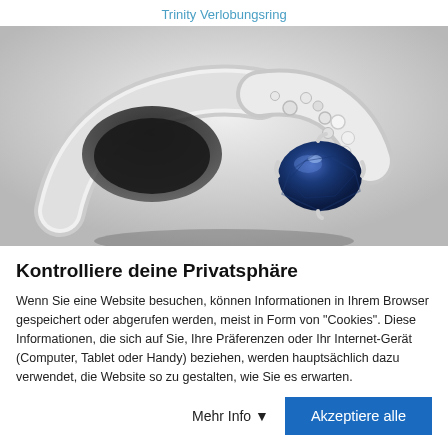Trinity Verlobungsring
[Figure (photo): Close-up photo of a white gold engagement ring with a large oval blue sapphire center stone surrounded by small diamond accents on a white background]
Kontrolliere deine Privatsphäre
Wenn Sie eine Website besuchen, können Informationen in Ihrem Browser gespeichert oder abgerufen werden, meist in Form von "Cookies". Diese Informationen, die sich auf Sie, Ihre Präferenzen oder Ihr Internet-Gerät (Computer, Tablet oder Handy) beziehen, werden hauptsächlich dazu verwendet, die Website so zu gestalten, wie Sie es erwarten.
Mehr Info ▾
Akzeptiere alle